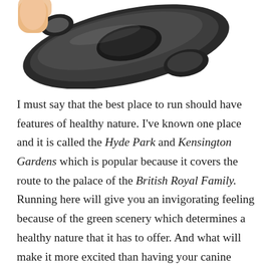[Figure (photo): A close-up photo of a dark grey/black fitness tracker or smart wristband device, showing the band and clasp mechanism, held by a hand at the top left corner.]
I must say that the best place to run should have features of healthy nature. I've known one place and it is called the Hyde Park and Kensington Gardens which is popular because it covers the route to the palace of the British Royal Family. Running here will give you an invigorating feeling because of the green scenery which determines a healthy nature that it has to offer. And what will make it more excited than having your canine buddy with you? It is absolutely fun and good for your health, not to mention the closeness and happiness you will gain from your favorite pet! But I warn you not to get too excited in releasing your pets since there are many well